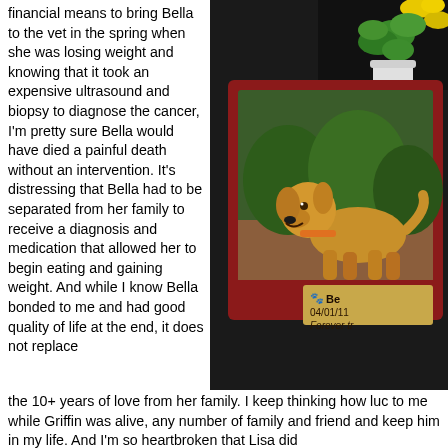financial means to bring Bella to the vet in the spring when she was losing weight and knowing that it took an expensive ultrasound and biopsy to diagnose the cancer, I'm pretty sure Bella would have died a painful death without an intervention. It's distressing that Bella had to be separated from her family to receive a diagnosis and medication that allowed her to begin eating and gaining weight.  And while I know Bella bonded to me and had good quality of life at the end, it does not replace the 10+ years of love from her family.  I keep thinking how luc to me while Griffin was alive, any number of family and friend and keep him in my life.  And I'm so heartbroken that Lisa did
[Figure (photo): A photo on a dark background showing a red wooden picture frame containing an image of a golden retriever dog standing outdoors. A small name plate on the frame reads 'Be 04/01/11 Forever tr'. In the top right corner there is a plant with green leaves and yellow flowers.]